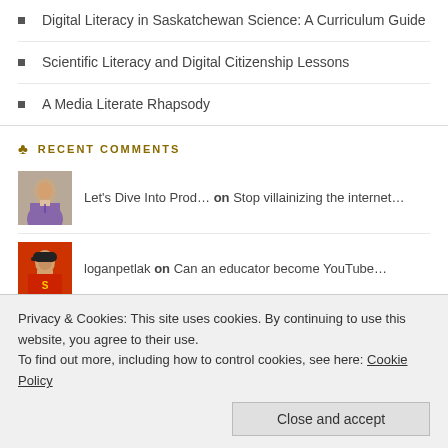Digital Literacy in Saskatchewan Science: A Curriculum Guide
Scientific Literacy and Digital Citizenship Lessons
A Media Literate Rhapsody
RECENT COMMENTS
Let's Dive Into Prod… on Stop villainizing the internet…
loganpetlak on Can an educator become YouTube…
Bhuboy on Can an educator become YouTube…
loganpetlak on A Media Literate Rhapsody
Privacy & Cookies: This site uses cookies. By continuing to use this website, you agree to their use. To find out more, including how to control cookies, see here: Cookie Policy
Close and accept